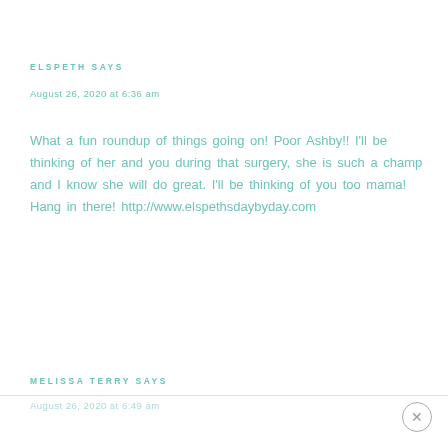ELSPETH SAYS
August 26, 2020 at 6:36 am
What a fun roundup of things going on! Poor Ashby!! I'll be thinking of her and you during that surgery, she is such a champ and I know she will do great. I'll be thinking of you too mama! Hang in there! http://www.elspethsdaybyday.com
MELISSA TERRY SAYS
August 26, 2020 at 6:49 am